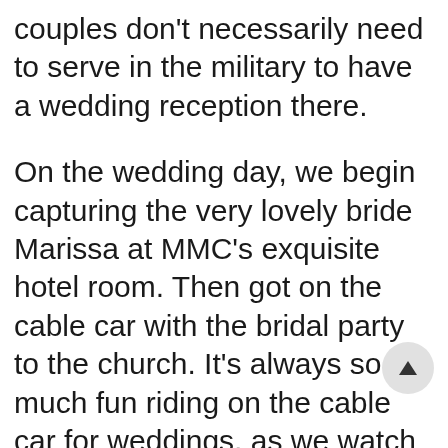couples don't necessarily need to serve in the military to have a wedding reception there.
On the wedding day, we begin capturing the very lovely bride Marissa at MMC's exquisite hotel room. Then got on the cable car with the bridal party to the church. It's always so much fun riding on the cable car for weddings, as we watch bystanders on the street joyfully cheer out loud for the wedding party. I feel so blessed